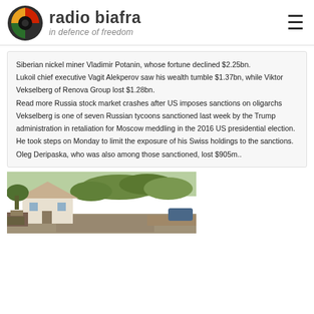radio biafra — in defence of freedom
Siberian nickel miner Vladimir Potanin, whose fortune declined $2.25bn. Lukoil chief executive Vagit Alekperov saw his wealth tumble $1.37bn, while Viktor Vekselberg of Renova Group lost $1.28bn. Read more Russia stock market crashes after US imposes sanctions on oligarchs Vekselberg is one of seven Russian tycoons sanctioned last week by the Trump administration in retaliation for Moscow meddling in the 2016 US presidential election. He took steps on Monday to limit the exposure of his Swiss holdings to the sanctions. Oleg Deripaska, who was also among those sanctioned, lost $905m..
[Figure (photo): Outdoor scene showing a white house with debris/rubble in the foreground and trees in the background, likely showing storm or disaster damage.]